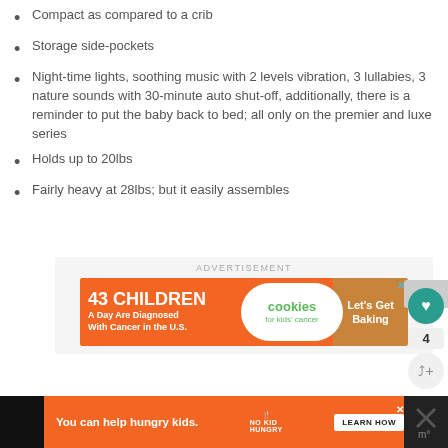Compact as compared to a crib
Storage side-pockets
Night-time lights, soothing music with 2 levels vibration, 3 lullabies, 3 nature sounds with 30-minute auto shut-off, additionally, there is a reminder to put the baby back to bed; all only on the premier and luxe series
Holds up to 20lbs
Fairly heavy at 28lbs; but it easily assembles
[Figure (screenshot): Advertisement banner for Cookies for Kids' Cancer charity with orange background, cookie graphic, and 'Let's Get Baking' call to action]
[Figure (screenshot): Bottom advertisement bar for No Kid Hungry charity with orange background and 'You can help hungry kids. LEARN HOW' text]